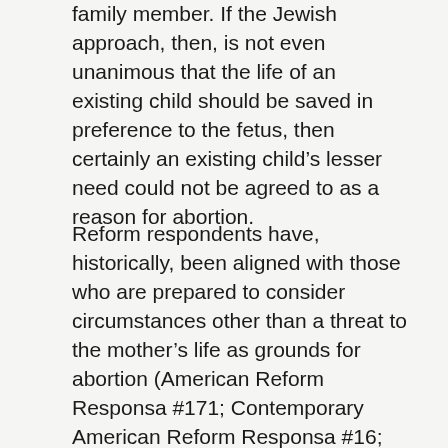family member. If the Jewish approach, then, is not even unanimous that the life of an existing child should be saved in preference to the fetus, then certainly an existing child's lesser need could not be agreed to as a reason for abortion.
Reform respondents have, historically, been aligned with those who are prepared to consider circumstances other than a threat to the mother's life as grounds for abortion (American Reform Responsa #171; Contemporary American Reform Responsa #16; Questions and Reform Jewish Answer #155). While tending towards a preference for lenient conditions, however, the thrust of the respondents' position has been succinctly summarized with the words “we do not encourage abortion, nor favor it for trivial